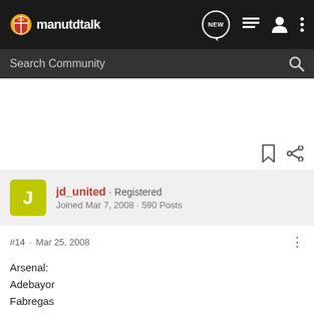[Figure (screenshot): manutdtalk forum navigation bar with logo, NEW bubble, list icon, user icon, and three-dot menu]
[Figure (screenshot): Search Community search bar with magnifying glass icon]
jd_united · Registered
Joined Mar 7, 2008 · 590 Posts
#14 · Mar 25, 2008
Arsenal:
Adebayor
Fabregas